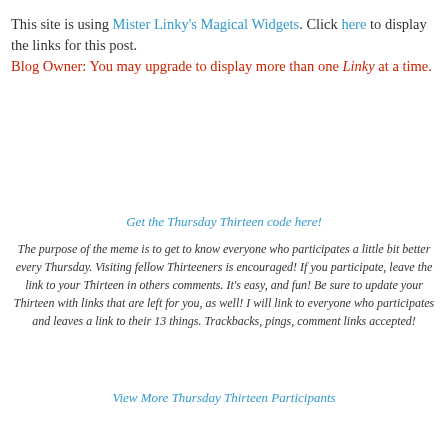This site is using Mister Linky's Magical Widgets. Click here to display the links for this post. Blog Owner: You may upgrade to display more than one Linky at a time.
Get the Thursday Thirteen code here!
The purpose of the meme is to get to know everyone who participates a little bit better every Thursday. Visiting fellow Thirteeners is encouraged! If you participate, leave the link to your Thirteen in others comments. It's easy, and fun! Be sure to update your Thirteen with links that are left for you, as well! I will link to everyone who participates and leaves a link to their 13 things. Trackbacks, pings, comment links accepted!
View More Thursday Thirteen Participants